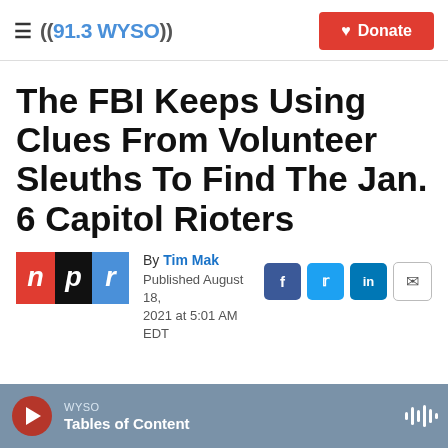((91.3 WYSO)) | Donate
The FBI Keeps Using Clues From Volunteer Sleuths To Find The Jan. 6 Capitol Rioters
By Tim Mak
Published August 18, 2021 at 5:01 AM EDT
[Figure (logo): NPR logo with red N, black P, blue R]
[Figure (infographic): Social share buttons: Facebook, Twitter, LinkedIn, Email]
WYSO | Tables of Content | play button